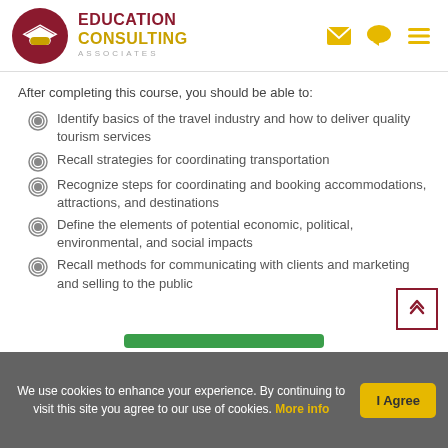Education Consulting Associates
After completing this course, you should be able to:
Identify basics of the travel industry and how to deliver quality tourism services
Recall strategies for coordinating transportation
Recognize steps for coordinating and booking accommodations, attractions, and destinations
Define the elements of potential economic, political, environmental, and social impacts
Recall methods for communicating with clients and marketing and selling to the public
We use cookies to enhance your experience. By continuing to visit this site you agree to our use of cookies. More info